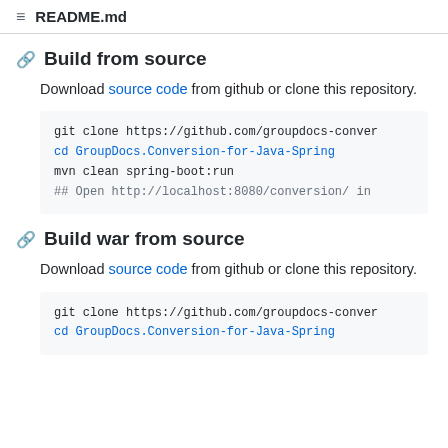README.md
Build from source
Download source code from github or clone this repository.
git clone https://github.com/groupdocs-conver
cd GroupDocs.Conversion-for-Java-Spring
mvn clean spring-boot:run
## Open http://localhost:8080/conversion/ in
Build war from source
Download source code from github or clone this repository.
git clone https://github.com/groupdocs-conver
cd GroupDocs.Conversion-for-Java-Spring